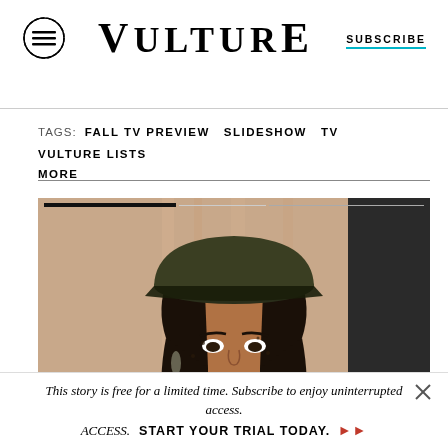VULTURE | SUBSCRIBE
TAGS: FALL TV PREVIEW  SLIDESHOW  TV  VULTURE LISTS  MORE
[Figure (photo): Woman wearing a dark olive baseball cap and sheer embellished outfit, photographed from waist up against a beige curtain backdrop. Progress bar overlay at top of image.]
This story is free for a limited time. Subscribe to enjoy uninterrupted access. START YOUR TRIAL TODAY.